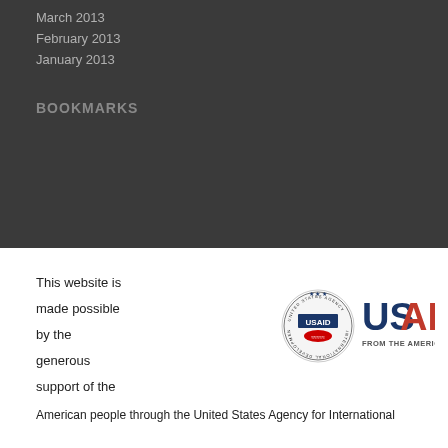March 2013
February 2013
January 2013
BOOKMARKS
This website is made possible by the generous support of the American people through the United States Agency for International
[Figure (logo): USAID logo — circular seal with 'United States Agency for International Development' and handshake, next to large USAID text with 'FROM THE AMERICAN PEOPLE' tagline]